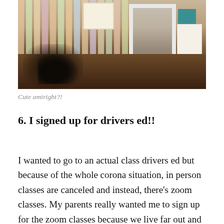[Figure (photo): A photo of a room corner with striped pastel wallpaper, a white mirror frame, a teal box, a decorative sign card, a sun artwork on the wall, and a dark cat/shadow on a wooden floor in the foreground.]
Cute amiright?!
6. I signed up for drivers ed!!
I wanted to go to an actual class drivers ed but because of the whole corona situation, in person classes are canceled and instead, there's zoom classes. My parents really wanted me to sign up for the zoom classes because we live far out and they didn't want to drive me/with me into town 3 times a week